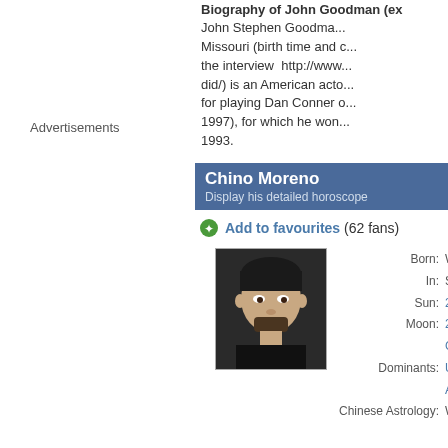Advertisements
Biography of John Goodman (ex...
John Stephen Goodma... Missouri (birth time and c... the interview http://www... did/) is an American acto... for playing Dan Conner o... 1997), for which he won... 1993.
Chino Moreno
Display his detailed horoscope
Add to favourites (62 fans)
[Figure (photo): Portrait photo of Chino Moreno, a man with dark hair in a black shirt, shown in a bordered rectangular frame.]
Born: W...
In: Sa...
Sun: 29...
Moon: 23...
Ge...
Dominants: Ur...
Ai...
Chinese Astrology: W...